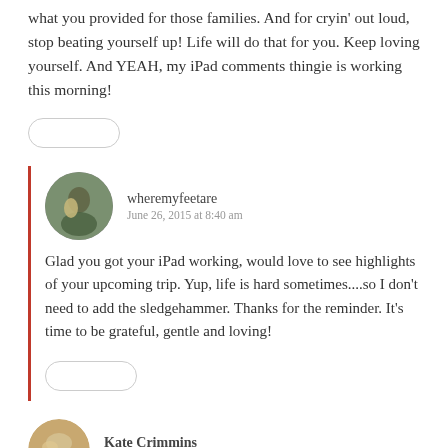what you provided for those families. And for cryin' out loud, stop beating yourself up! Life will do that for you. Keep loving yourself. And YEAH, my iPad comments thingie is working this morning!
wheremyfeetare
June 26, 2015 at 8:40 am
Glad you got your iPad working, would love to see highlights of your upcoming trip. Yup, life is hard sometimes....so I don't need to add the sledgehammer. Thanks for the reminder. It's time to be grateful, gentle and loving!
Kate Crimmins
June 26, 2015 at 9:15 am
We all fall into that trap of forgetting the wonderful and focusing on what's wrong or not perfect. I try to refocus when I do that but it doesn't stop it from happening again. Great post.